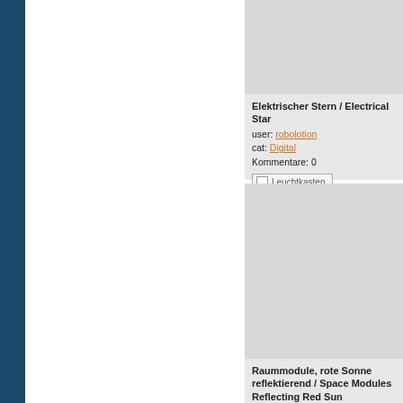Elektrischer Stern / Electrical Star
user: robolotion
cat: Digital
Kommentare: 0
[Leuchtkasten]
Raummodule, rote Sonne reflektierend / Space Modules Reflecting Red Sun
user: robolotion
cat: Digital
Kommentare: 0
[Leuchtkasten]